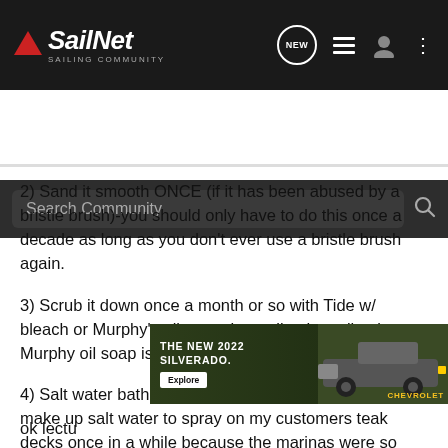SailNet SAILING COMMUNITY
2) Sand it smooth ONCE (if it has been abused by a bristle brush)-you should only have to do this once a decade as long as you don't ever use a bristle brush again.
3) Scrub it down once a month or so with Tide w/ bleach or Murphy's oil soap depending how dirty it gets. Murphy oil soap is good for fiberglass too.
4) Salt water bath- give it lots of salt water. I had to make up salt water to spray on my customers teak decks once in a while because the marinas were so polluted. It sounds a bit extreme but my customers had the prettiest decks around.
[Figure (screenshot): Advertisement banner for The New 2022 Silverado by Chevrolet, showing truck image with Explore button]
ok lectu